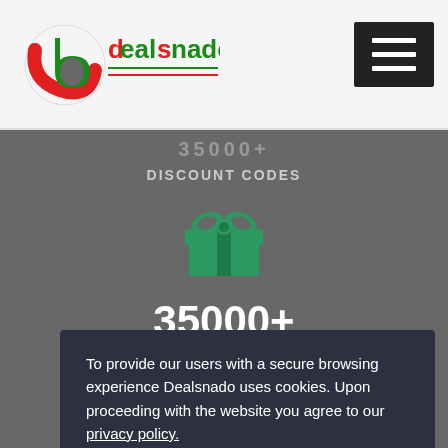[Figure (logo): Dealsnado logo — stylized 'd' with red and green coloring, text 'dealsnado' in green/red letters]
[Figure (other): Hamburger menu button — black square with three white horizontal bars]
35000+
DISCOUNT CODES
[Figure (illustration): Green gift box icon with ribbon and bow]
35000+
To provide our users with a secure browsing experience Dealsnado uses cookies. Upon proceeding with the website you agree to our privacy policy.
Abo
Deals offering mech consumers. Our featured stores belong to various categories,
Okay, Thanks